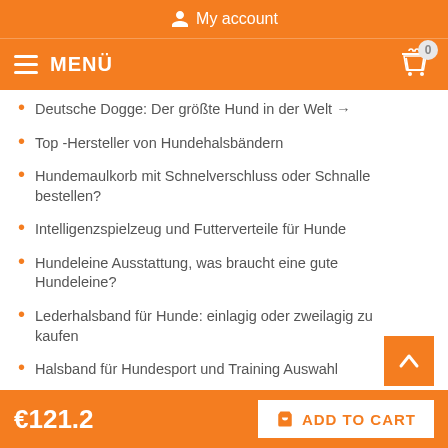My account
MENÜ  0
Deutsche Dogge: Der größte Hund in der Welt →
Top -Hersteller von Hundehalsbandern
Hundemaulkorb mit Schnelverschluss oder Schnalle bestellen?
Intelligenzspielzeug und Futterverteile für Hunde
Hundeleine Ausstattung, was braucht eine gute Hundeleine?
Lederhalsband für Hunde: einlagig oder zweilagig zu kaufen
Halsband für Hundesport und Training Auswahl
Das beste Allwetter Hundehalsband?
€121.2
ADD TO CART